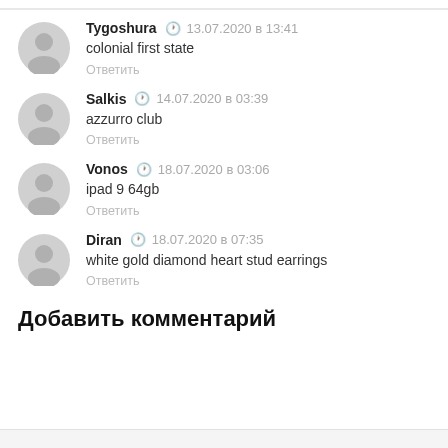Tygoshura • 13.07.2020 в 13:41
colonial first state
Ответить
Salkis • 14.07.2020 в 03:39
azzurro club
Ответить
Vonos • 18.07.2020 в 03:06
ipad 9 64gb
Ответить
Diran • 18.07.2020 в 07:35
white gold diamond heart stud earrings
Ответить
Добавить комментарий